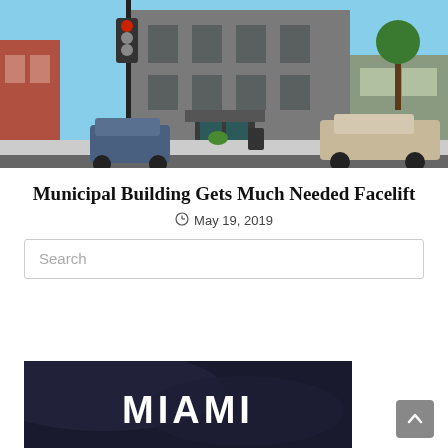[Figure (photo): Street-level photo of a grey municipal building at an intersection, with traffic lights, parked cars, and trees visible on a sunny day.]
Municipal Building Gets Much Needed Facelift
May 19, 2019
Search
[Figure (photo): Dark nighttime or twilight photo with large white bold text reading MIAMI overlaid on it.]